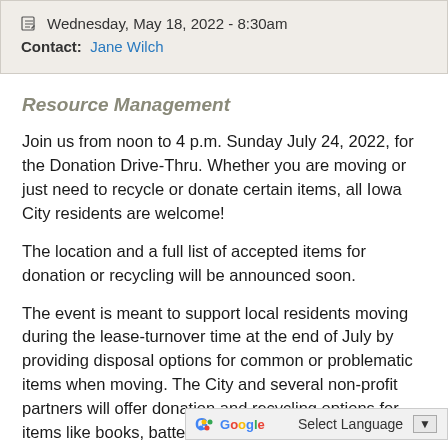Wednesday, May 18, 2022 - 8:30am
Contact: Jane Wilch
Resource Management
Join us from noon to 4 p.m. Sunday July 24, 2022, for the Donation Drive-Thru. Whether you are moving or just need to recycle or donate certain items, all Iowa City residents are welcome!
The location and a full list of accepted items for donation or recycling will be announced soon.
The event is meant to support local residents moving during the lease-turnover time at the end of July by providing disposal options for common or problematic items when moving. The City and several non-profit partners will offer donation and recycling options for items like books, batteries,...